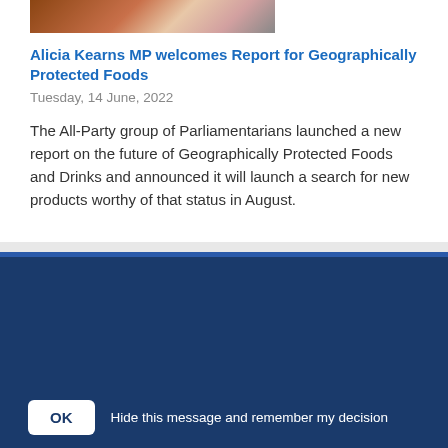[Figure (photo): Partial photo of food item, cropped at top of page]
Alicia Kearns MP welcomes Report for Geographically Protected Foods
Tuesday, 14 June, 2022
The All-Party group of Parliamentarians launched a new report on the future of Geographically Protected Foods and Drinks and announced it will launch a search for new products worthy of that status in August.
This site uses cookies to optimise your user experience.
Only essential cookies are set. To find out more, including how to opt out, please visit the Cookies page.
OK  Hide this message and remember my decision